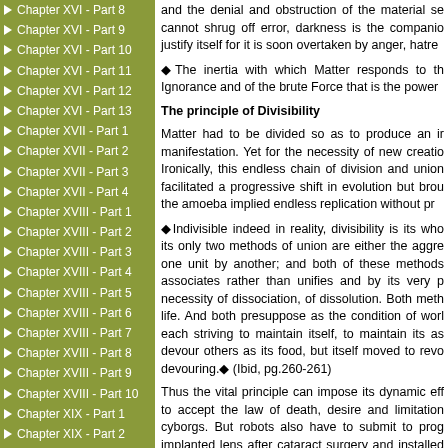Chapter XVI - Part 8
Chapter XVI - Part 9
Chapter XVI - Part 10
Chapter XVI - Part 11
Chapter XVI - Part 12
Chapter XVI - Part 13
Chapter XVII - Part 1
Chapter XVII - Part 2
Chapter XVII - Part 3
Chapter XVII - Part 4
Chapter XVIII - Part 1
Chapter XVIII - Part 2
Chapter XVIII - Part 3
Chapter XVIII - Part 4
Chapter XVIII - Part 5
Chapter XVIII - Part 6
Chapter XVIII - Part 7
Chapter XVIII - Part 8
Chapter XVIII - Part 9
Chapter XVIII - Part 10
Chapter XIX - Part 1
Chapter XIX - Part 2
Chapter XIX - Part 3
Chapter XIX - Part 4
Chapter XIX - Part 5
Chapter XIX - Part 6
Chapter XIX - Part 7
Chapter XX - Part 1
Chapter XX - Part 2
Chapter XX - Part 3
and the denial and obstruction of the material se cannot shrug off error, darkness is the companio justify itself for it is soon overtaken by anger, hatre
The inertia with which Matter responds to th Ignorance and of the brute Force that is the power
The principle of Divisibility
Matter had to be divided so as to produce an ir manifestation. Yet for the necessity of new creatio Ironically, this endless chain of division and union facilitated a progressive shift in evolution but brou the amoeba implied endless replication without pr
Indivisible indeed in reality, divisibility is its who its only two methods of union are either the aggre one unit by another; and both of these methods associates rather than unifies and by its very p necessity of dissociation, of dissolution. Both meth life. And both presuppose as the condition of worl each striving to maintain itself, to maintain its as devour others as its food, but itself moved to revo devouring. (Ibid, pg.260-261)
Thus the vital principle can impose its dynamic eff to accept the law of death, desire and limitation cyborgs. But robots also have to submit to prog implanted lens after cataract surgery and installed cannot be limited. That is why knowledge never s to move in a rhythm of action and reaction preservation and long destruction with no certain a